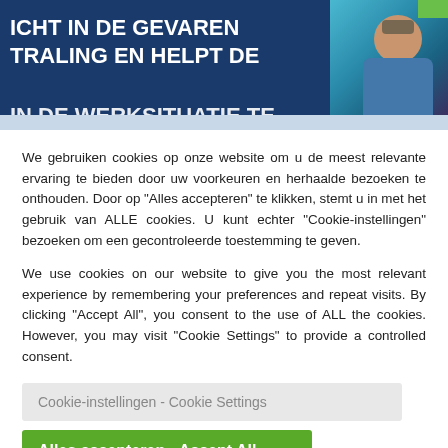[Figure (screenshot): Partially visible website header banner with dark blue background showing Dutch text 'ICHT IN DE GEVAREN TRALING EN HELPT DE' and a partial photo of a person with glasses on the right, with a green accent in the top right corner and light blue background area below.]
We gebruiken cookies op onze website om u de meest relevante ervaring te bieden door uw voorkeuren en herhaalde bezoeken te onthouden. Door op "Alles accepteren" te klikken, stemt u in met het gebruik van ALLE cookies. U kunt echter "Cookie-instellingen" bezoeken om een gecontroleerde toestemming te geven.
We use cookies on our website to give you the most relevant experience by remembering your preferences and repeat visits. By clicking "Accept All", you consent to the use of ALL the cookies. However, you may visit "Cookie Settings" to provide a controlled consent.
Cookie-instellingen - Cookie Settings
Alles accepteren - Accept All